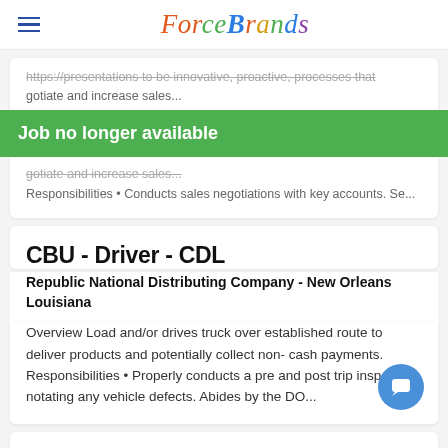ForceBrands
Job no longer available — negotiate and increase sales. Responsibilities • Conducts sales negotiations with key accounts. Se...
CBU - Driver - CDL
Republic National Distributing Company - New Orleans Louisiana
Overview Load and/or drives truck over established route to deliver products and potentially collect non- cash payments. Responsibilities • Properly conducts a pre and post trip inspection, notating any vehicle defects. Abides by the DO...